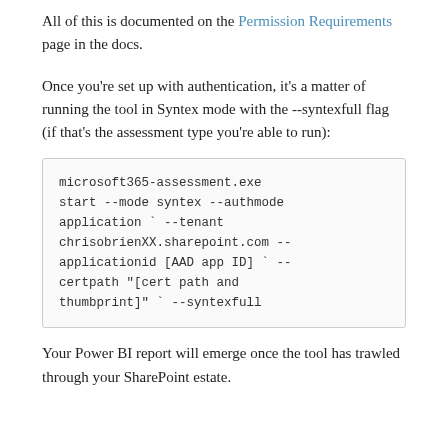All of this is documented on the Permission Requirements page in the docs.
Once you're set up with authentication, it's a matter of running the tool in Syntex mode with the --syntexfull flag (if that's the assessment type you're able to run):
microsoft365-assessment.exe start --mode syntex --authmode application ` --tenant chrisobrienXX.sharepoint.com --applicationid [AAD app ID] ` --certpath "[cert path and thumbprint]" ` --syntexfull
Your Power BI report will emerge once the tool has trawled through your SharePoint estate.